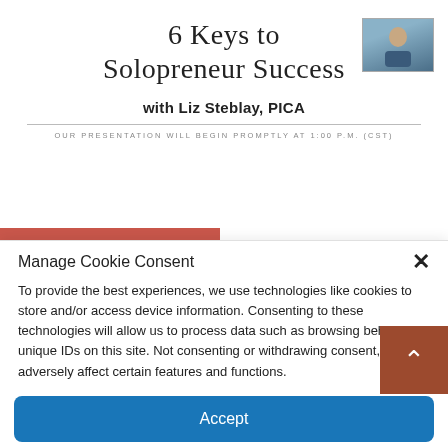6 Keys to Solopreneur Success
with Liz Steblay, PICA
OUR PRESENTATION WILL BEGIN PROMPTLY AT 1:00 P.M. (CST)
Manage Cookie Consent
To provide the best experiences, we use technologies like cookies to store and/or access device information. Consenting to these technologies will allow us to process data such as browsing behavior or unique IDs on this site. Not consenting or withdrawing consent, may adversely affect certain features and functions.
Accept
Opt-out preferences   Privacy